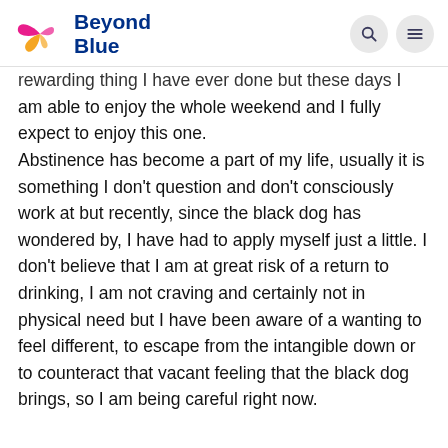[Figure (logo): Beyond Blue logo with butterfly icon in pink, magenta and yellow, and the text 'Beyond Blue' in dark blue]
rewarding thing I have ever done but these days I am able to enjoy the whole weekend and I fully expect to enjoy this one. Abstinence has become a part of my life, usually it is something I don't question and don't consciously work at but recently, since the black dog has wondered by, I have had to apply myself just a little. I don't believe that I am at great risk of a return to drinking, I am not craving and certainly not in physical need but I have been aware of a wanting to feel different, to escape from the intangible down or to counteract that vacant feeling that the black dog brings, so I am being careful right now.